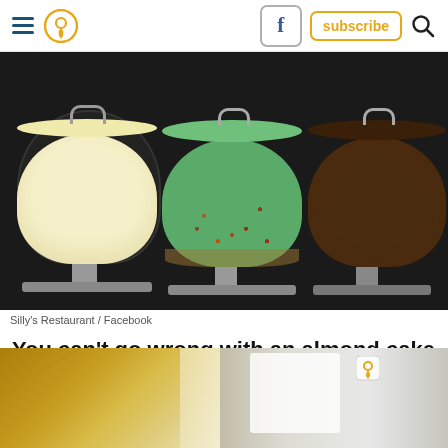Navigation bar with hamburger menu, location icon, Facebook button, subscribe button, and search icon
[Figure (photo): Three cakes under glass domes on stands displayed in a dark cabinet: a white/cream frosted almond cake on the left, a green frosted cake with sprinkles in the center, and a chocolate frosted cake on the right.]
Silly's Restaurant / Facebook
You can't go wrong with an almond cake with white frosting and toasted coconut. Or, the pumpkin with caramel frosting.
[Figure (photo): Partial interior photo of a restaurant showing walls and ceiling with warm golden/yellow tones, bright window in background, and a decorative pin/marker icon overlay.]